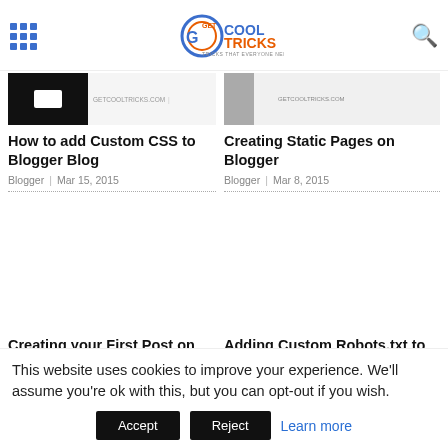GET COOLTRICKS — TRICKS THAT EVERYONE NEEDS
[Figure (screenshot): Thumbnail image for 'How to add Custom CSS to Blogger Blog' post with black background and GETCOOLTRICKS.COM watermark]
How to add Custom CSS to Blogger Blog
Blogger | Mar 15, 2015
[Figure (screenshot): Thumbnail image for 'Creating Static Pages on Blogger' post with GETCOOLTRICKS.COM watermark]
Creating Static Pages on Blogger
Blogger | Mar 8, 2015
[Figure (screenshot): Blank image area for 'Creating your First Post on Blogger' post]
Creating your First Post on Blogger
[Figure (screenshot): Blank image area for 'Adding Custom Robots.txt to Blogger Blog' post]
Adding Custom Robots.txt to Blogger Blog
This website uses cookies to improve your experience. We'll assume you're ok with this, but you can opt-out if you wish.